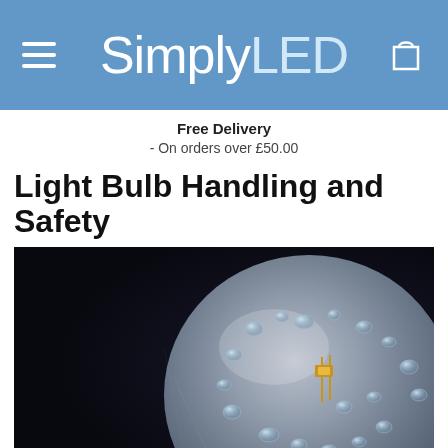SimplyLED
Free Delivery - On orders over £50.00
Light Bulb Handling and Safety
[Figure (photo): Close-up macro photograph of a clear glass light bulb with water droplets on its surface, on a dark background. The bulb appears to be a globe-shaped LED or incandescent bulb, with visible internal components including a small LED chip mounted on gold leads. The glass surface is covered with water droplets/condensation.]